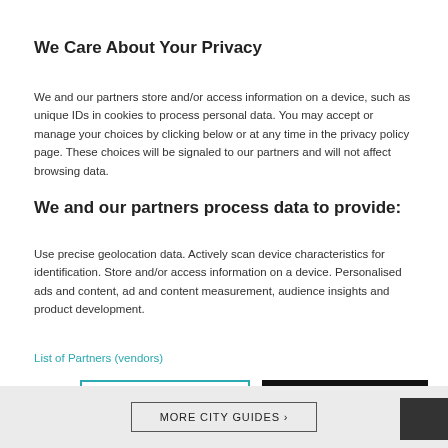We Care About Your Privacy
We and our partners store and/or access information on a device, such as unique IDs in cookies to process personal data. You may accept or manage your choices by clicking below or at any time in the privacy policy page. These choices will be signaled to our partners and will not affect browsing data.
We and our partners process data to provide:
Use precise geolocation data. Actively scan device characteristics for identification. Store and/or access information on a device. Personalised ads and content, ad and content measurement, audience insights and product development.
List of Partners (vendors)
Show Purposes
I Accept
MORE CITY GUIDES >